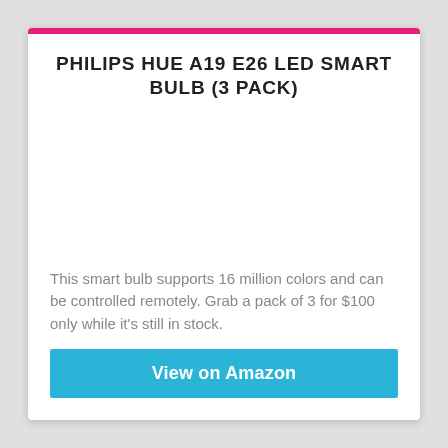PHILIPS HUE A19 E26 LED SMART BULB (3 PACK)
[Figure (photo): Product image area for Philips Hue A19 E26 LED Smart Bulb (3 Pack) — white/blank space where product photo would appear]
This smart bulb supports 16 million colors and can be controlled remotely. Grab a pack of 3 for $100 only while it's still in stock.
View on Amazon